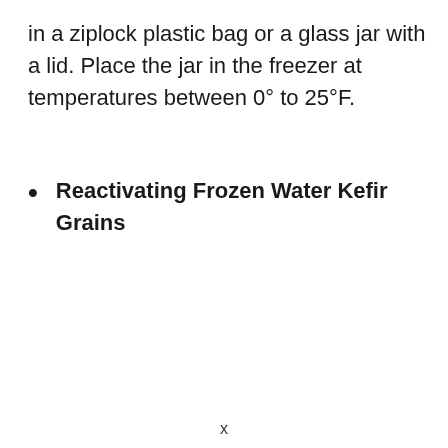in a ziplock plastic bag or a glass jar with a lid. Place the jar in the freezer at temperatures between 0° to 25°F.
Reactivating Frozen Water Kefir Grains
x